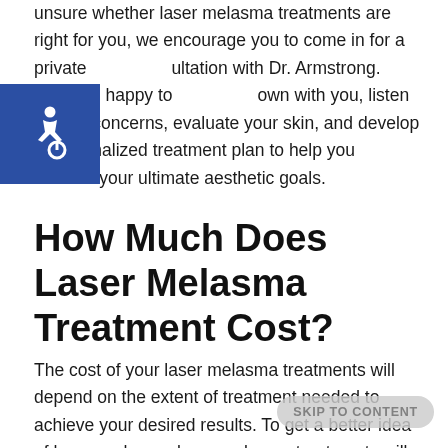unsure whether laser melasma treatments are right for you, we encourage you to come in for a private consultation with Dr. Armstrong. She'll be happy to sit down with you, listen to your concerns, evaluate your skin, and develop a personalized treatment plan to help you achieve your ultimate aesthetic goals.
[Figure (logo): Blue square accessibility icon with white wheelchair symbol]
How Much Does Laser Melasma Treatment Cost?
The cost of your laser melasma treatments will depend on the extent of treatment needed to achieve your desired results. To get a better idea of how much your laser melasma treatments will cost, we encourage you to come in for a private consultation with Dr. Armstrong. For your convenience, we are happy to offer flexible financing